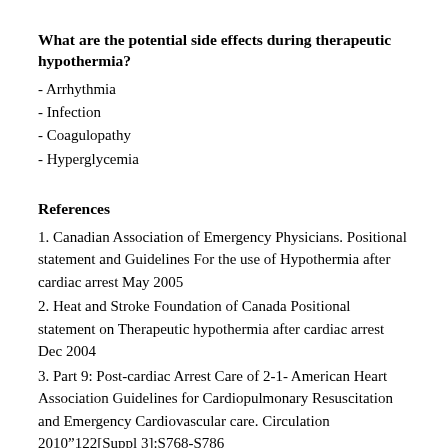What are the potential side effects during therapeutic hypothermia?
- Arrhythmia
- Infection
- Coagulopathy
- Hyperglycemia
References
1. Canadian Association of Emergency Physicians. Positional statement and Guidelines For the use of Hypothermia after cardiac arrest May 2005
2. Heat and Stroke Foundation of Canada Positional statement on Therapeutic hypothermia after cardiac arrest Dec 2004
3. Part 9: Post-cardiac Arrest Care of 2-1- American Heart Association Guidelines for Cardiopulmonary Resuscitation and Emergency Cardiovascular care. Circulation 2010”122[Suppl 3]:S768-S786
4. SPARC (Strategies in Post Arrest Resuscitation Care)